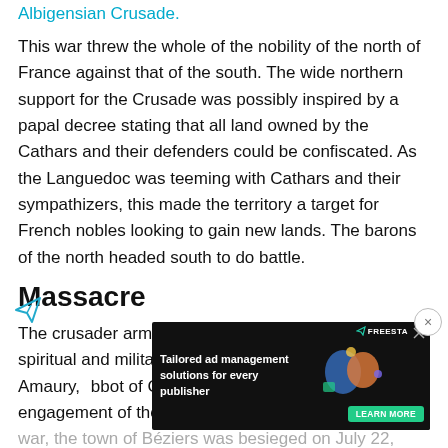Albigensian Crusade.
This war threw the whole of the nobility of the north of France against that of the south. The wide northern support for the Crusade was possibly inspired by a papal decree stating that all land owned by the Cathars and their defenders could be confiscated. As the Languedoc was teeming with Cathars and their sympathizers, this made the territory a target for French nobles looking to gain new lands. The barons of the north headed south to do battle.
Massacre
The crusader army came under the command, both spiritual and military, of the papal legate Arnaud-Amaury, Abbot of Cîteaux. In the first significant engagement of the war, the town of Béziers was besieged on July 22, 1209. The Ro[man Catholic Bishop of Béziers] wanted the free[dom of the city, but the townspeople] opted to fight alongside the Cathars.
[Figure (other): Advertisement banner: Tailored ad management solutions for every publisher - FREESTA with Learn More button, dark background with colorful graphic]